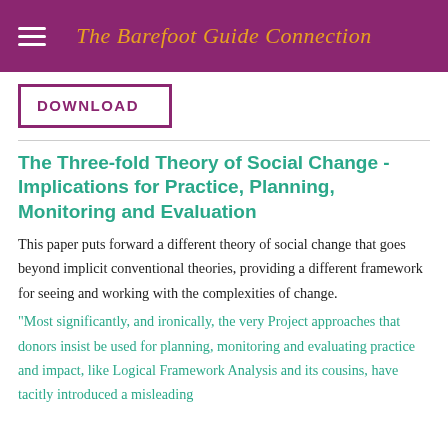The Barefoot Guide Connection
DOWNLOAD
The Three-fold Theory of Social Change - Implications for Practice, Planning, Monitoring and Evaluation
This paper puts forward a different theory of social change that goes beyond implicit conventional theories, providing a different framework for seeing and working with the complexities of change.
"Most significantly, and ironically, the very Project approaches that donors insist be used for planning, monitoring and evaluating practice and impact, like Logical Framework Analysis and its cousins, have tacitly introduced a misleading